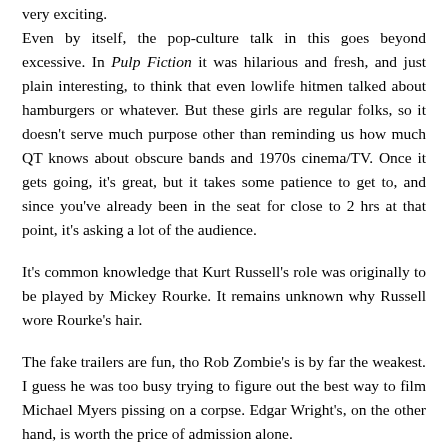very exciting.
Even by itself, the pop-culture talk in this goes beyond excessive. In Pulp Fiction it was hilarious and fresh, and just plain interesting, to think that even lowlife hitmen talked about hamburgers or whatever. But these girls are regular folks, so it doesn't serve much purpose other than reminding us how much QT knows about obscure bands and 1970s cinema/TV. Once it gets going, it's great, but it takes some patience to get to, and since you've already been in the seat for close to 2 hrs at that point, it's asking a lot of the audience.
It's common knowledge that Kurt Russell's role was originally to be played by Mickey Rourke. It remains unknown why Russell wore Rourke's hair.
The fake trailers are fun, tho Rob Zombie's is by far the weakest. I guess he was too busy trying to figure out the best way to film Michael Myers pissing on a corpse. Edgar Wright's, on the other hand, is worth the price of admission alone.
No one dies in this bloated mess, and the death of Jeff Fahey is